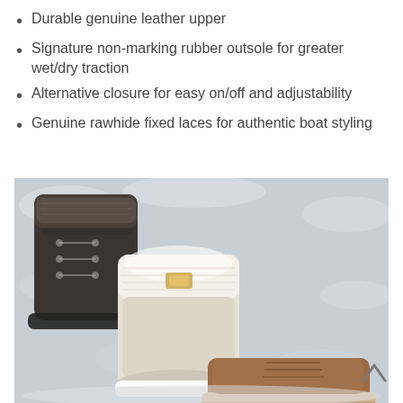Durable genuine leather upper
Signature non-marking rubber outsole for greater wet/dry traction
Alternative closure for easy on/off and adjustability
Genuine rawhide fixed laces for authentic boat styling
[Figure (photo): Three pairs of winter/snow boots arranged in snow — a dark grey fur-lined boot (back left), a cream/white fur-lined boot (middle), and a tan/brown lace-up boot (front right). An upward arrow chevron is visible at the right edge of the photo.]